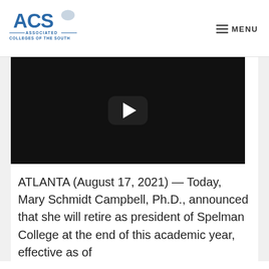[Figure (logo): ACS Associated Colleges of the South logo — blue text with decorative lines]
≡ MENU
[Figure (screenshot): Embedded YouTube video player showing a dark/black frame with a play button in the center and a user avatar in the top-left corner]
ATLANTA (August 17, 2021) — Today, Mary Schmidt Campbell, Ph.D., announced that she will retire as president of Spelman College at the end of this academic year, effective as of June 30, 2022.